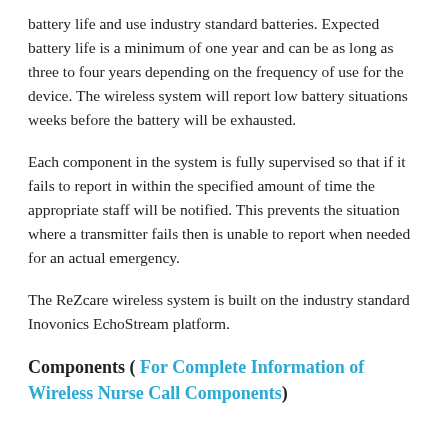battery life and use industry standard batteries. Expected battery life is a minimum of one year and can be as long as three to four years depending on the frequency of use for the device. The wireless system will report low battery situations weeks before the battery will be exhausted.
Each component in the system is fully supervised so that if it fails to report in within the specified amount of time the appropriate staff will be notified. This prevents the situation where a transmitter fails then is unable to report when needed for an actual emergency.
The ReZcare wireless system is built on the industry standard Inovonics EchoStream platform.
Components ( For Complete Information of Wireless Nurse Call Components)